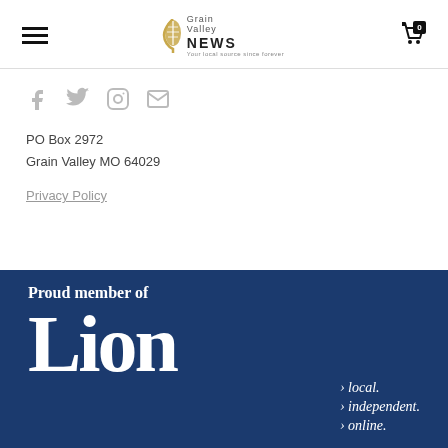Grain Valley NEWS — navigation header with hamburger menu and cart
[Figure (logo): Grain Valley NEWS logo with wheat leaf icon]
PO Box 2972
Grain Valley MO 64029
Privacy Policy
[Figure (other): Dark navy banner reading 'Proud member of' with large text 'Lion' and bullet points: local. independent. online.]